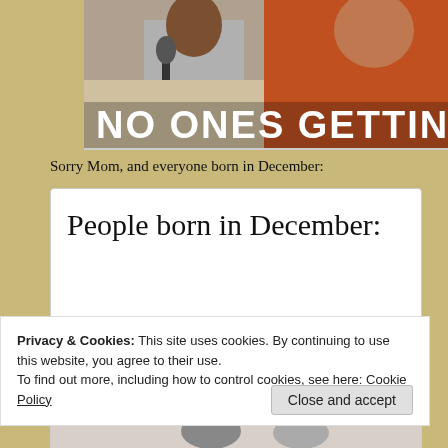[Figure (photo): Partial image of a person in red top holding microphone with text overlay 'NO ONES GETTIN' visible at the bottom of the image]
Sorry Mom, and everyone born in December:
[Figure (screenshot): Meme card with white background and text 'People born in December:' in large serif font, with a light blue band at the bottom]
Privacy & Cookies: This site uses cookies. By continuing to use this website, you agree to their use.
To find out more, including how to control cookies, see here: Cookie Policy
[Figure (photo): Partial bottom image, partially visible]